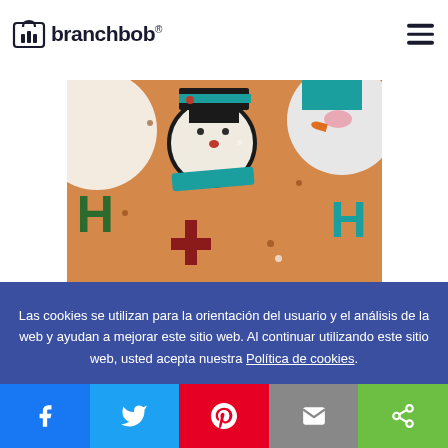[Figure (logo): Branchbob logo with shopping bag icon and brand name text]
our blog post on rch engine optimization.
[Figure (photo): Christmas/holiday themed illustration on orange/tan background showing cartoon snowman characters and colorful letters spelling HO HO]
Las cookies se utilizan para la orientación del usuario y el análisis de la web y ayudan a mejorar este sitio web. Al continuar utilizando este sitio web, usted acepta nuestra Política de cookies.
[Figure (infographic): Social sharing bar with Facebook, Twitter, Pinterest, Email, and Share buttons]